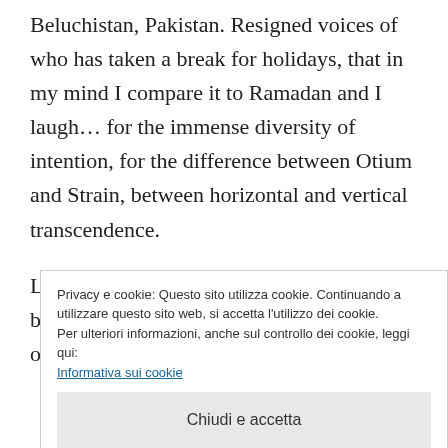Beluchistan, Pakistan. Resigned voices of who has taken a break for holidays, that in my mind I compare it to Ramadan and I laugh… for the immense diversity of intention, for the difference between Otium and Strain, between horizontal and vertical transcendence.
Little distraction, little cultural event(some beautiful marriage), people stay with the others to
Privacy e cookie: Questo sito utilizza cookie. Continuando a utilizzare questo sito web, si accetta l'utilizzo dei cookie.
Per ulteriori informazioni, anche sul controllo dei cookie, leggi qui:
Informativa sui cookie
Chiudi e accetta